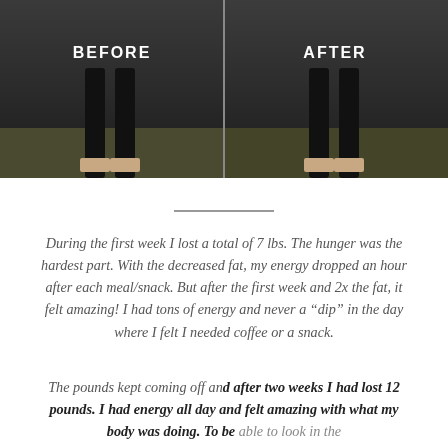[Figure (photo): Before and after side-by-side photos showing lower body/legs. Left side labeled BEFORE, right side labeled AFTER. Dark gym background with dark floor.]
During the first week I lost a total of 7 lbs.  The hunger was the hardest part.  With the decreased fat, my energy dropped an hour after each meal/snack.   But after the first week and 2x the fat, it felt amazing!  I had tons of energy and never a “dip” in the day where I felt I needed coffee or a snack.
The pounds kept coming off and after two weeks I had lost 12 pounds.  I had energy all day and felt amazing with what my body was doing.  To be able to look in the